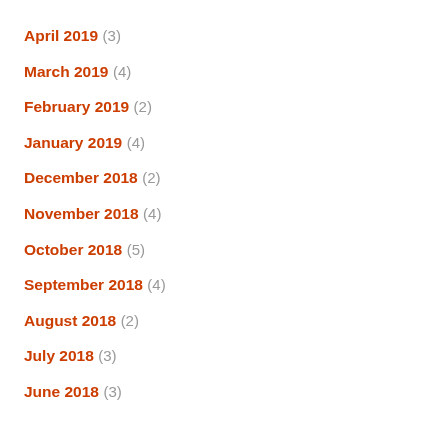April 2019 (3)
March 2019 (4)
February 2019 (2)
January 2019 (4)
December 2018 (2)
November 2018 (4)
October 2018 (5)
September 2018 (4)
August 2018 (2)
July 2018 (3)
June 2018 (3)